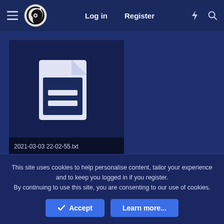[Figure (screenshot): Navigation bar with hamburger menu, OBS Studio logo (black and white circular logo), Log in and Register links, lightning bolt icon, and search icon on dark navy blue background]
[Figure (other): File attachment card showing a document/text file icon (white document icon on dark navy background) with filename label '2021-03-03 22-02-55.txt' at the bottom]
This site uses cookies to help personalise content, tailor your experience and to keep you logged in if you register.
By continuing to use this site, you are consenting to our use of cookies.
✓ Accept
Learn more...